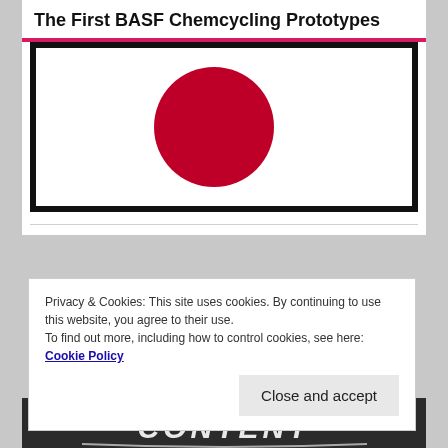The First BASF Chemcycling Prototypes
[Figure (illustration): Japanese flag — white rectangle with black border and a dark red/crimson circle in the center-left area]
Privacy & Cookies: This site uses cookies. By continuing to use this website, you agree to their use.
To find out more, including how to control cookies, see here: Cookie Policy
Close and accept
[Figure (photo): A chalkboard with the word CONTENT written in white chalk lettering]